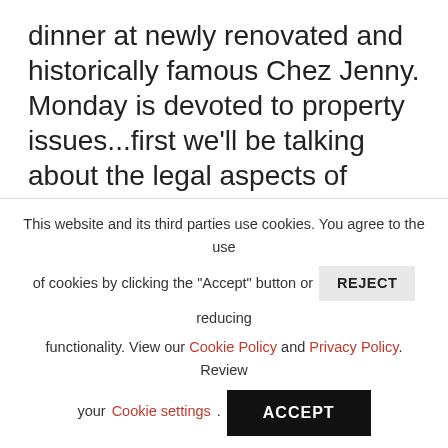dinner at newly renovated and historically famous Chez Jenny. Monday is devoted to property issues...first we'll be talking about the legal aspects of owning property in France (John Howell), then the simplicity of getting a mortgage (Abbey National and later Banque Patrimoine et Immobilier), structural problems and renovation issues (Derek Bush) and lastly, renting your property for profit (Porter Scott), all before having
This website and its third parties use cookies. You agree to the use of cookies by clicking the "Accept" button or REJECT reducing functionality. View our Cookie Policy and Privacy Policy. Review your Cookie settings. ACCEPT